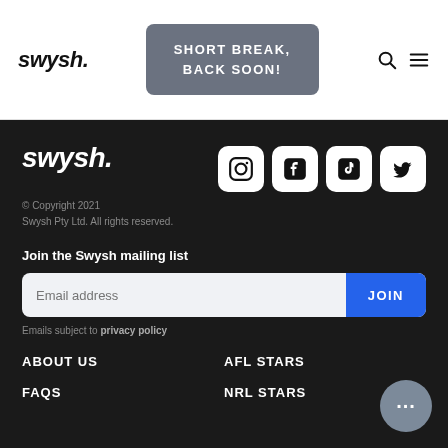swysh.
SHORT BREAK, BACK SOON!
[Figure (logo): swysh. brand logo in white bold italic text]
[Figure (infographic): Social media icons: Instagram, Facebook, TikTok, Twitter]
© Copyright 2021 Swysh Pty Ltd. All rights reserved.
Join the Swysh mailing list
Email address
JOIN
Emails subject to privacy policy
ABOUT US
AFL STARS
FAQS
NRL STARS